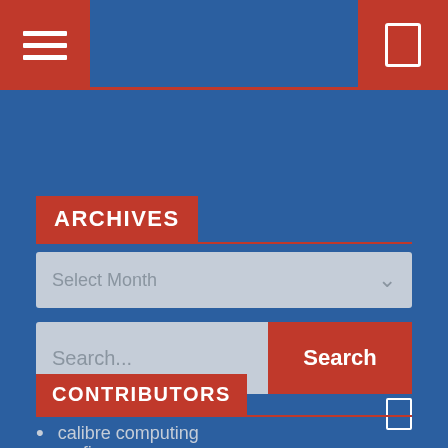Navigation bar with hamburger menu and user icon
ARCHIVES
Select Month
Search...
CONTRIBUTORS
calibre computing
no fi